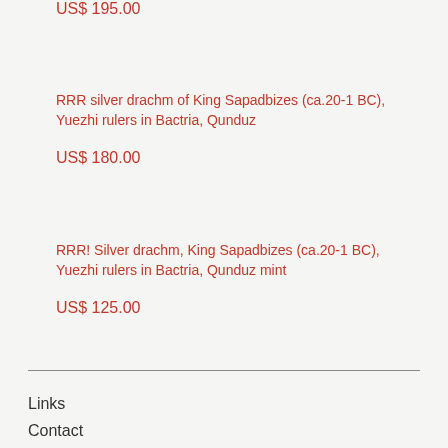US$ 195.00
RRR silver drachm of King Sapadbizes (ca.20-1 BC), Yuezhi rulers in Bactria, Qunduz
US$ 180.00
RRR! Silver drachm, King Sapadbizes (ca.20-1 BC), Yuezhi rulers in Bactria, Qunduz mint
US$ 125.00
Links
Contact